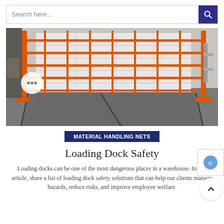Search here...
[Figure (photo): Orange safety net/barrier installed at a loading dock, showing a grid-pattern orange net stretched across a warehouse dock opening with a gray ramp/leveler below and orange metal support posts on the sides.]
MATERIAL HANDLING NETS
Loading Dock Safety
Loading docks can be one of the most dangerous places in a warehouse. In this article, share a list of loading dock safety solutions that can help our clients manage hazards, reduce risks, and improve employee welfare.